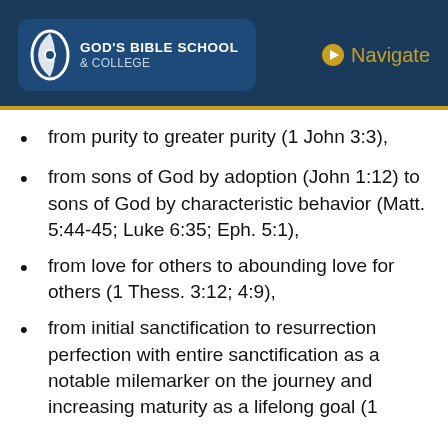God's Bible School & College | Navigate
from purity to greater purity (1 John 3:3),
from sons of God by adoption (John 1:12) to sons of God by characteristic behavior (Matt. 5:44-45; Luke 6:35; Eph. 5:1),
from love for others to abounding love for others (1 Thess. 3:12; 4:9),
from initial sanctification to resurrection perfection with entire sanctification as a notable milemarker on the journey and increasing maturity as a lifelong goal (1